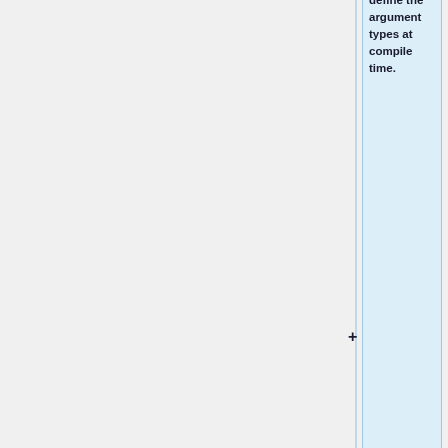be extremely careful and use care to make sure that all of your code that explicitly uses Eigen types is pass-by-reference you have to watch out for templates which define the argument types at compile time.
If a template has a function that takes arguments pass-by-value...